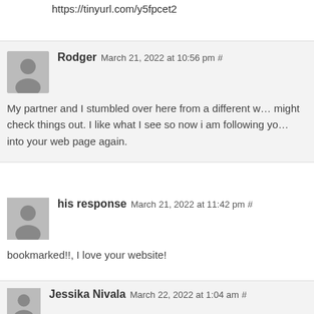https://tinyurl.com/y5fpcet2
Rodger March 21, 2022 at 10:56 pm #
My partner and I stumbled over here from a different w… might check things out. I like what I see so now i am following yo… into your web page again.
his response March 21, 2022 at 11:42 pm #
bookmarked!!, I love your website!
Jessika Nivala March 22, 2022 at 1:04 am #
This site really has all the information I needed about t…